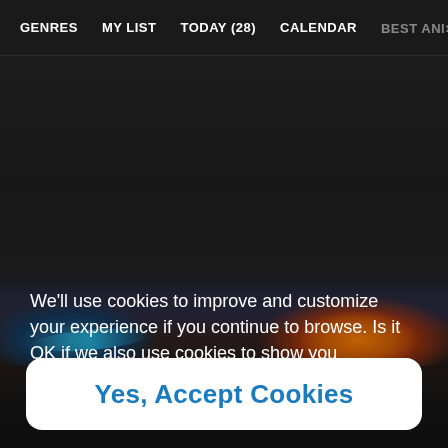GENRES   MY LIST   TODAY (28)   CALENDAR   BEST ANIM >
[Figure (screenshot): Dark website background with colorful gradient light blobs in blue, teal, orange, and amber colors]
We'll use cookies to improve and customize your experience if you continue to browse. Is it OK if we also use cookies to show you personalized ads?
Yes, Accept Cookies